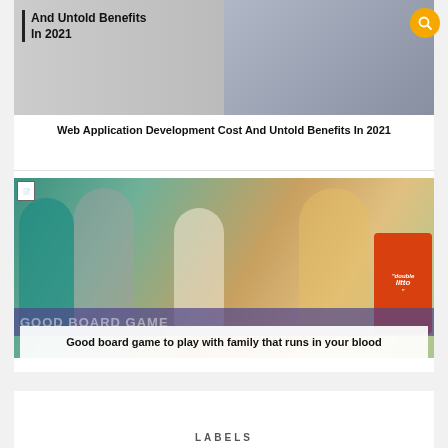[Figure (screenshot): Search icon button, golden/orange circle with magnifying glass]
[Figure (screenshot): Article card: web app development image with text overlay 'And Untold Benefits In 2021']
Web Application Development Cost And Untold Benefits In 2021
[Figure (photo): Family playing board game together, with Double Litto game box visible]
Good board game to play with family that runs in your blood
LABELS